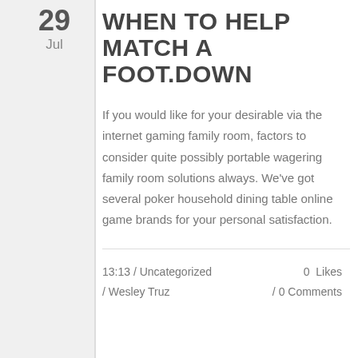29
Jul
WHEN TO HELP MATCH A FOOT.DOWN
If you would like for your desirable via the internet gaming family room, factors to consider quite possibly portable wagering family room solutions always. We've got several poker household dining table online game brands for your personal satisfaction.
13:13 / Uncategorized / Wesley Truz
0 Likes / 0 Comments